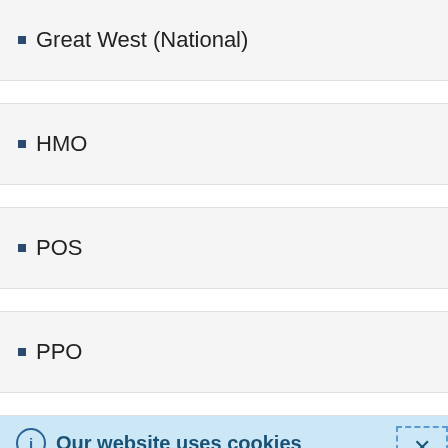Great West (National)
HMO
POS
PPO
Our website uses cookies
This website uses cookies as well as similar tools and technologies to understand visitors' experiences. By continuing to use this website, you consent to Columbia University's usage of cookies and similar technologies in accordance with the Columbia University Website Cookie Notice.